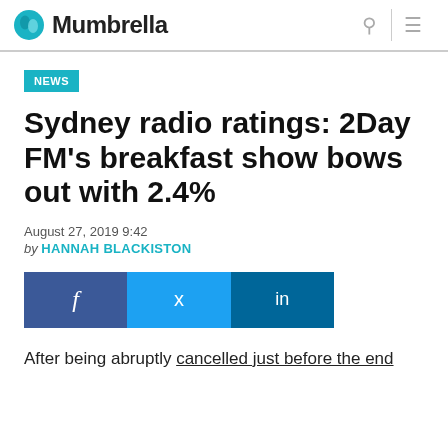Mumbrella
NEWS
Sydney radio ratings: 2Day FM's breakfast show bows out with 2.4%
August 27, 2019 9:42
by HANNAH BLACKISTON
[Figure (other): Social share buttons for Facebook, Twitter, and LinkedIn]
After being abruptly cancelled just before the end